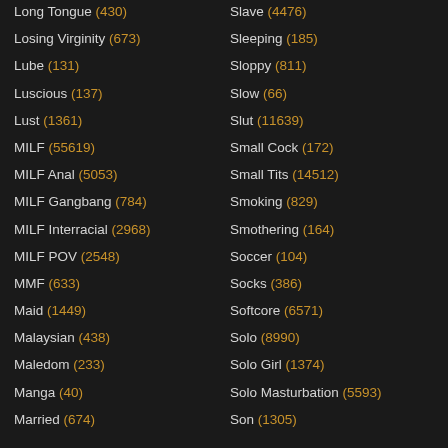Long Tongue (430)
Losing Virginity (673)
Lube (131)
Luscious (137)
Lust (1361)
MILF (55619)
MILF Anal (5053)
MILF Gangbang (784)
MILF Interracial (2968)
MILF POV (2548)
MMF (633)
Maid (1449)
Malaysian (438)
Maledom (233)
Manga (40)
Married (674)
Slave (4476)
Sleeping (185)
Sloppy (811)
Slow (66)
Slut (11639)
Small Cock (172)
Small Tits (14512)
Smoking (829)
Smothering (164)
Soccer (104)
Socks (386)
Softcore (6571)
Solo (8990)
Solo Girl (1374)
Solo Masturbation (5593)
Son (1305)